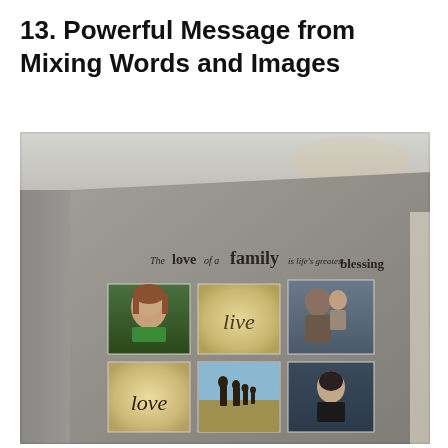13. Powerful Message from Mixing Words and Images
[Figure (photo): Interior room photo showing a taupe/gray wall with vinyl lettering reading 'The love of a family is life's greatest blessing' and six framed photos and art pieces arranged in two rows of three below the text. The frames include photos of a young girl, a 'live' word art piece, a man with a baby, a 'love' word art piece, a silhouette of a family outdoors, and another young girl portrait.]